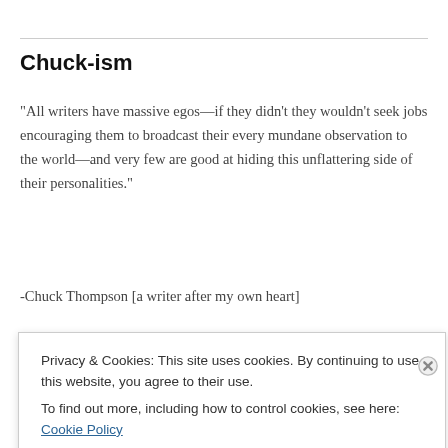Chuck-ism
"All writers have massive egos—if they didn't they wouldn't seek jobs encouraging them to broadcast their every mundane observation to the world—and very few are good at hiding this unflattering side of their personalities."
-Chuck Thompson [a writer after my own heart]
Recent Posts
Privacy & Cookies: This site uses cookies. By continuing to use this website, you agree to their use.
To find out more, including how to control cookies, see here: Cookie Policy